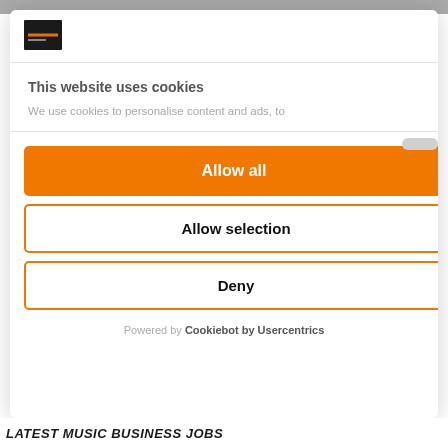[Figure (screenshot): Cookie consent modal overlay on a music business website. Modal contains a logo, title 'This website uses cookies', partial description text, and three buttons: 'Allow all' (orange filled), 'Allow selection' (orange outlined), 'Deny' (orange outlined). Footer shows 'Powered by Cookiebot by Usercentrics'. Background shows partial website with header bar and 'LATEST MUSIC BUSINESS JOBS' text.]
This website uses cookies
We use cookies to personalise content and ads, to
Allow all
Allow selection
Deny
Powered by Cookiebot by Usercentrics
LATEST MUSIC BUSINESS JOBS